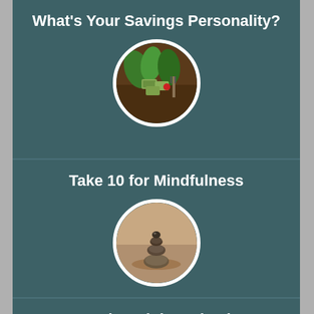What's Your Savings Personality?
[Figure (photo): Circular photo of money/dollar bills growing in soil with a small garden shovel]
Take 10 for Mindfulness
[Figure (photo): Circular photo of balanced stacked stones (mindfulness/zen rocks)]
5 Strength-Training Mistakes to Avoid